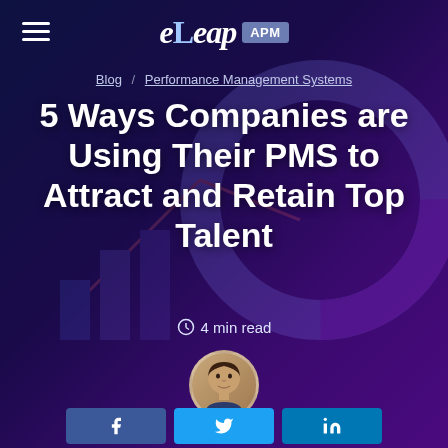eLeap APM
Blog / Performance Management Systems
5 Ways Companies are Using Their PMS to Attract and Retain Top Talent
4 min read
[Figure (photo): Author headshot of Oliver Lucas]
Oliver Lucas